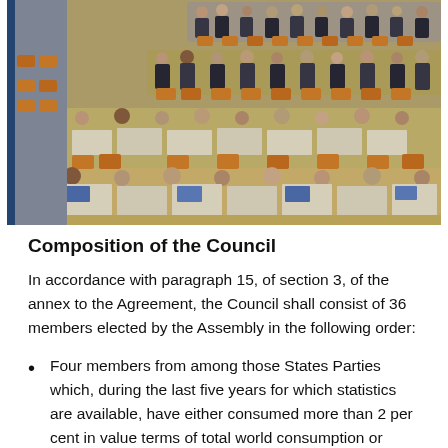[Figure (photo): Aerial view of a large assembly hall filled with delegates seated at rows of desks with orange/wooden chairs, some seats empty, people in formal attire working at tables with documents and laptops.]
Composition of the Council
In accordance with paragraph 15, of section 3, of the annex to the Agreement, the Council shall consist of 36 members elected by the Assembly in the following order:
Four members from among those States Parties which, during the last five years for which statistics are available, have either consumed more than 2 per cent in value terms of total world consumption or have had net imports of more than 2 per cent in value terms of total world